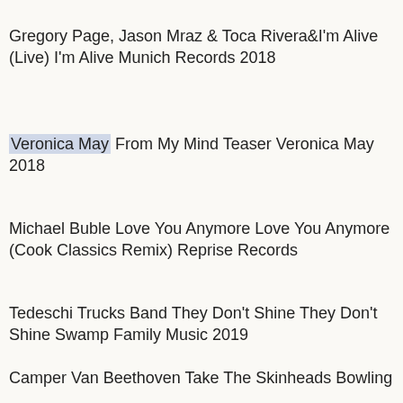Gregory Page, Jason Mraz & Toca Rivera&I'm Alive (Live) I'm Alive Munich Records 2018
Veronica May From My Mind Teaser Veronica May 2018
Michael Buble Love You Anymore Love You Anymore (Cook Classics Remix) Reprise Records
Tedeschi Trucks Band They Don't Shine They Don't Shine Swamp Family Music 2019
Camper Van Beethoven Take The Skinheads Bowling